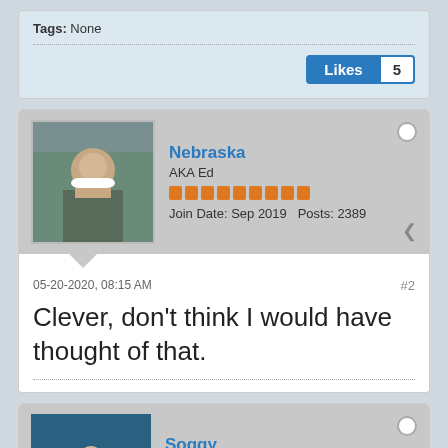Tags: None
Likes 5
Nebraska
AKA Ed
Join Date: Sep 2019   Posts: 2389
05-20-2020, 08:15 AM
#2
Clever, don't think I would have thought of that.
Soggy
Nova Scotia Canada
Join Date: Jun 2008   Posts: 4672